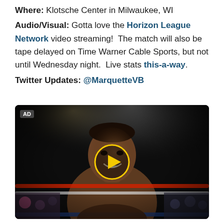Where: Klotsche Center in Milwaukee, WI
Audio/Visual: Gotta love the Horizon League Network video streaming! The match will also be tape delayed on Time Warner Cable Sports, but not until Wednesday night. Live stats this-a-way.
Twitter Updates: @MarquetteVB
[Figure (photo): Advertisement video thumbnail showing a male boxer in a boxing ring under bright lights, smiling, with a yellow circular play button overlay in the center. An 'AD' label appears in the top left corner.]